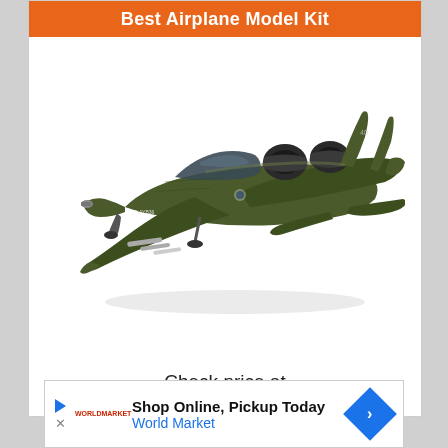Best Airplane Model Kit
[Figure (photo): A painted A-10 Thunderbolt II (Warthog) military airplane model kit, dark olive green color scheme, shown in three-quarter view from above-left, with landing gear deployed and various weapons attached under the wings.]
Check price at
[Figure (infographic): Advertisement banner: 'Shop Online, Pickup Today' World Market, with play/close icons on left and blue diamond navigation arrow on right.]